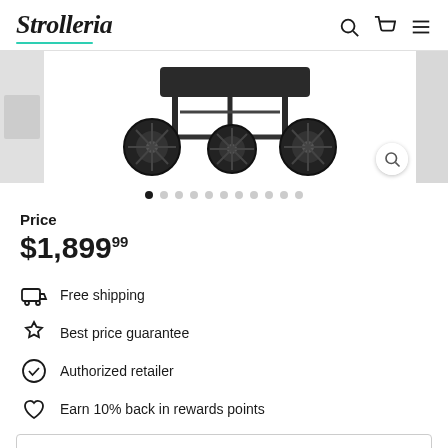Strolleria
[Figure (photo): Bottom portion of a baby stroller showing dark wheels on white background, with thumbnail strips on each side]
Price
$1,899.99
Free shipping
Best price guarantee
Authorized retailer
Earn 10% back in rewards points
Sold Out